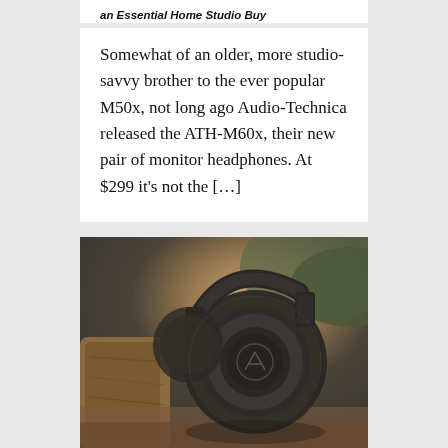an Essential Home Studio Buy
Somewhat of an older, more studio-savvy brother to the ever popular M50x, not long ago Audio-Technica released the ATH-M60x, their new pair of monitor headphones. At $299 it's not the […]
[Figure (photo): Photo of Audio-Technica ATH-M60x over-ear headphones in dark gray/black, placed on a wooden surface with a blurred outdoor background of warm browns and greens.]